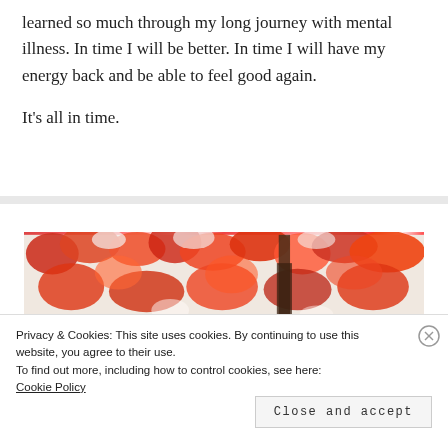learned so much through my long journey with mental illness. In time I will be better. In time I will have my energy back and be able to feel good again.

It's all in time.
[Figure (photo): Autumn leaves — orange and red maple leaves against a light background with a dark tree trunk visible.]
Privacy & Cookies: This site uses cookies. By continuing to use this website, you agree to their use.
To find out more, including how to control cookies, see here: Cookie Policy
Close and accept